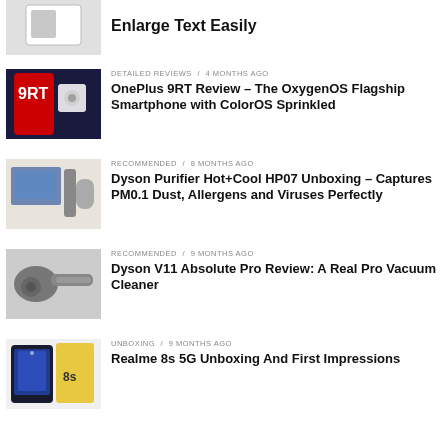[Figure (photo): Partial thumbnail of a device (top of page, cropped)]
Enlarge Text Easily
[Figure (photo): OnePlus 9RT smartphone photo]
DETAILED REVIEWS / 4 months ago
OnePlus 9RT Review – The OxygenOS Flagship Smartphone with ColorOS Sprinkled
[Figure (photo): Dyson Purifier HP07 product photo]
RECOMMENDED / 8 months ago
Dyson Purifier Hot+Cool HP07 Unboxing – Captures PM0.1 Dust, Allergens and Viruses Perfectly
[Figure (photo): Dyson V11 Absolute Pro vacuum cleaner photo]
RECOMMENDED / 9 months ago
Dyson V11 Absolute Pro Review: A Real Pro Vacuum Cleaner
[Figure (photo): Realme 8s 5G smartphone unboxing photo]
UNBOXING / 9 months ago
Realme 8s 5G Unboxing And First Impressions